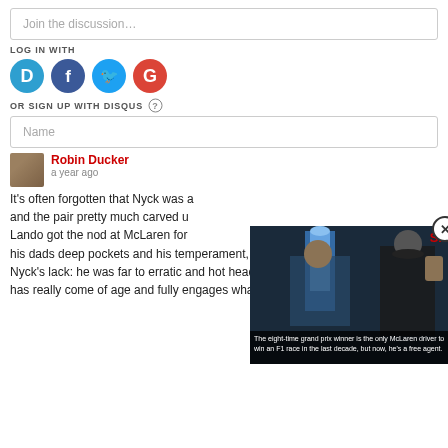Join the discussion…
LOG IN WITH
[Figure (infographic): Social login icons: Disqus (D), Facebook (F), Twitter bird, Google (G)]
OR SIGN UP WITH DISQUS ?
Name
Robin Ducker
a year ago
It's often forgotten that Nyck was a and the pair pretty much carved u Lando got the nod at McLaren for his dads deep pockets and his temperament, or conversely Nyck's lack: he was far to erratic and hot headed. That's now in the past and he has really come of age and fully engages what is a very decent intellect.
[Figure (photo): Video player overlay showing a racing driver holding a trophy, with SI badge and caption: The eight-time grand prix winner is the only McLaren driver to win an F1 race in the last decade, but now, he's a free agent.]